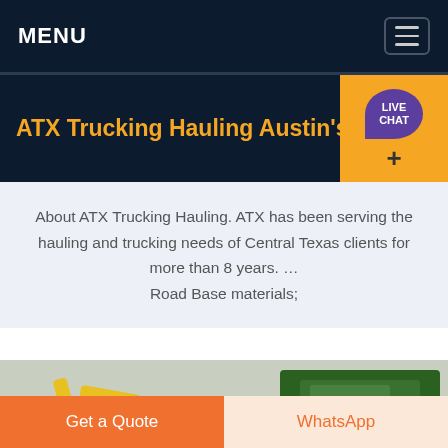MENU
ATX Trucking Hauling Austin's A...
About ATX Trucking Hauling. ATX has been serving the hauling and trucking needs of Central Texas clients for more than 8 years. … Road Base materials;
[Figure (photo): Construction site photo showing a yellow excavator and green machinery with gravel/debris]
Get a Quote
WhatsApp